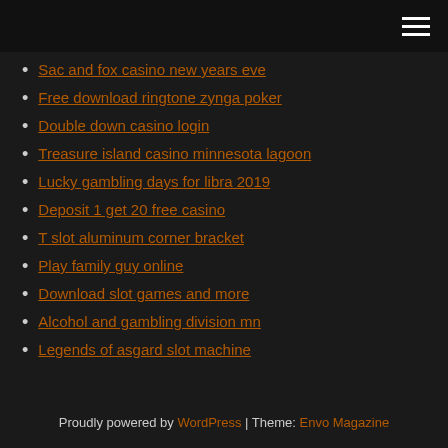Navigation menu (hamburger icon)
Sac and fox casino new years eve
Free download ringtone zynga poker
Double down casino login
Treasure island casino minnesota lagoon
Lucky gambling days for libra 2019
Deposit 1 get 20 free casino
T slot aluminum corner bracket
Play family guy online
Download slot games and more
Alcohol and gambling division mn
Legends of asgard slot machine
Proudly powered by WordPress | Theme: Envo Magazine